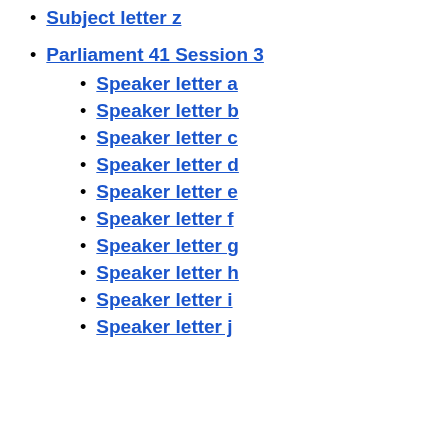Subject letter z
Parliament 41 Session 3
Speaker letter a
Speaker letter b
Speaker letter c
Speaker letter d
Speaker letter e
Speaker letter f
Speaker letter g
Speaker letter h
Speaker letter i
Speaker letter j